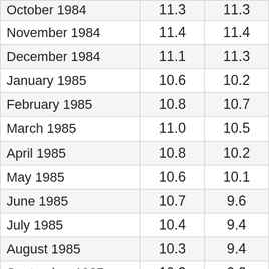| October 1984 | 11.3 | 11.3 |
| November 1984 | 11.4 | 11.4 |
| December 1984 | 11.1 | 11.3 |
| January 1985 | 10.6 | 10.2 |
| February 1985 | 10.8 | 10.7 |
| March 1985 | 11.0 | 10.5 |
| April 1985 | 10.8 | 10.2 |
| May 1985 | 10.6 | 10.1 |
| June 1985 | 10.7 | 9.6 |
| July 1985 | 10.4 | 9.4 |
| August 1985 | 10.3 | 9.4 |
| September 1985 | 10.2 | 9.2 |
| October 1985 | 10.3 | 9.3 |